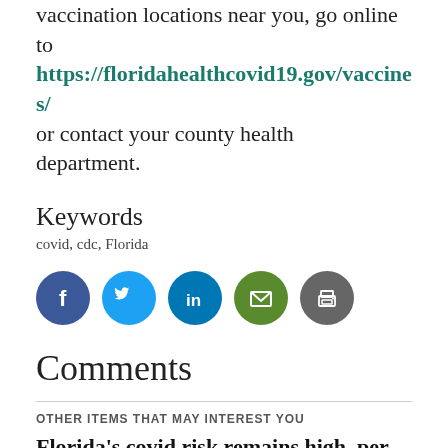vaccination locations near you, go online to https://floridahealthcovid19.gov/vaccines/ or contact your county health department.
Keywords
covid, cdc, Florida
[Figure (infographic): Row of five social share icons: Facebook (blue circle with f), Twitter (light blue circle with bird), LinkedIn (blue circle with in), Email (green circle with envelope), Print (grey circle with printer)]
Comments
OTHER ITEMS THAT MAY INTEREST YOU
Florida's covid risk remains high, per CDC